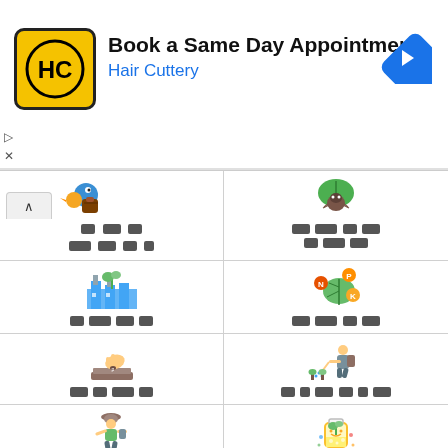[Figure (screenshot): Advertisement banner for Hair Cuttery: Book a Same Day Appointment]
[Figure (infographic): Grid of agricultural/farming category icons with redacted text labels in a 2-column layout]
[Figure (illustration): Icon: bird with bag (top-left cell)]
[Figure (illustration): Icon: leaf with bug (top-right cell)]
[Figure (illustration): Icon: factory with plant (row 2 left)]
[Figure (illustration): Icon: leaf with NPK labels (row 2 right)]
[Figure (illustration): Icon: hand seeding soil (row 3 left)]
[Figure (illustration): Icon: person watering plants (row 3 right)]
[Figure (illustration): Icon: farmer with sprayer (row 4 left)]
[Figure (illustration): Icon: flask with plant (row 4 right)]